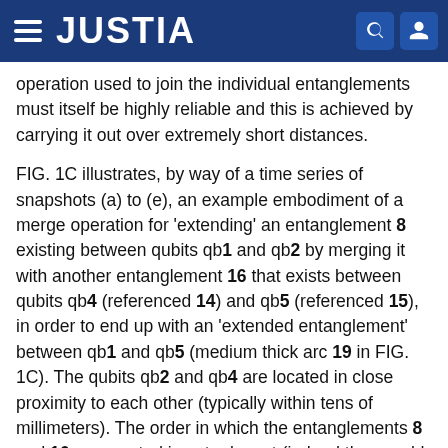JUSTIA
operation used to join the individual entanglements must itself be highly reliable and this is achieved by carrying it out over extremely short distances.
FIG. 1C illustrates, by way of a time series of snapshots (a) to (e), an example embodiment of a merge operation for 'extending' an entanglement 8 existing between qubits qb1 and qb2 by merging it with another entanglement 16 that exists between qubits qb4 (referenced 14) and qb5 (referenced 15), in order to end up with an 'extended entanglement' between qb1 and qb5 (medium thick arc 19 in FIG. 1C). The qubits qb2 and qb4 are located in close proximity to each other (typically within tens of millimeters). The order in which the entanglements 8 and 16 are created is not relevant (indeed they could be created simultaneously); all that is required is that both entanglements exist in a usable